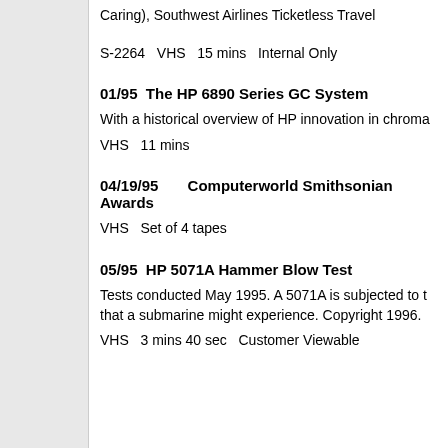Caring), Southwest Airlines Ticketless Travel
S-2264   VHS   15 mins   Internal Only
01/95  The HP 6890 Series GC System
With a historical overview of HP innovation in chroma
VHS   11 mins
04/19/95       Computerworld Smithsonian Awards
VHS   Set of 4 tapes
05/95  HP 5071A Hammer Blow Test
Tests conducted May 1995. A 5071A is subjected to t that a submarine might experience. Copyright 1996.
VHS   3 mins 40 sec   Customer Viewable